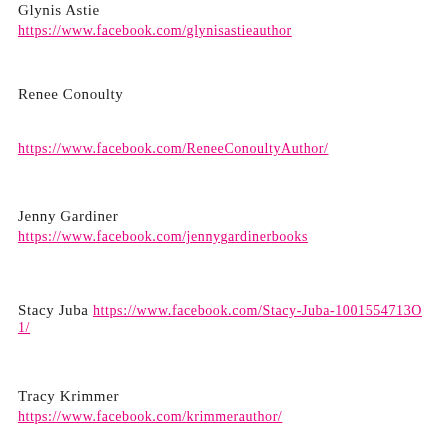Glynis Astie
https://www.facebook.com/glynisastieauthor
Renee Conoulty
https://www.facebook.com/ReneeConoultyAuthor/
Jenny Gardiner
https://www.facebook.com/jennygardinerbooks
Stacy Juba https://www.facebook.com/Stacy-Juba-1001554713O1/
Tracy Krimmer
https://www.facebook.com/krimmerauthor/